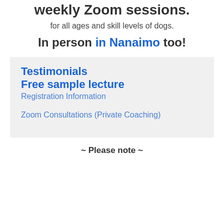weekly Zoom sessions.
for all ages and skill levels of dogs.
In person in Nanaimo too!
Testimonials
Free sample lecture
Registration Information
Zoom Consultations (Private Coaching)
~ Please note ~